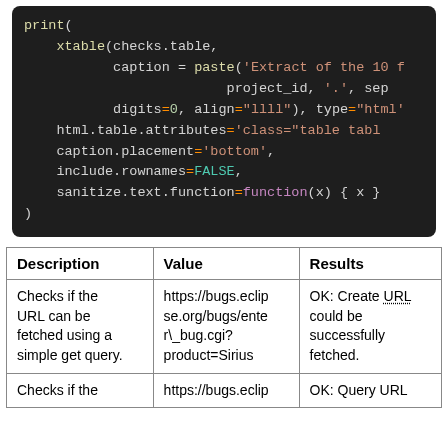[Figure (screenshot): Dark-themed code editor screenshot showing R code with print(), xtable(), caption, digits, align, type, html.table.attributes, caption.placement, include.rownames, sanitize.text.function parameters]
| Description | Value | Results |
| --- | --- | --- |
| Checks if the URL can be fetched using a simple get query. | https://bugs.eclipse.org/bugs/enter\_bug.cgi?product=Sirius | OK: Create URL could be successfully fetched. |
| Checks if the | https://bugs.eclip | OK: Query URL |